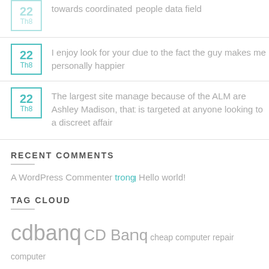towards coordinated people data field
I enjoy look for your due to the fact the guy makes me personally happier
The largest site manage because of the ALM are Ashley Madison, that is targeted at anyone looking to a discreet affair
RECENT COMMENTS
A WordPress Commenter trong Hello world!
TAG CLOUD
cdbanq CD Banq cheap computer repair computer